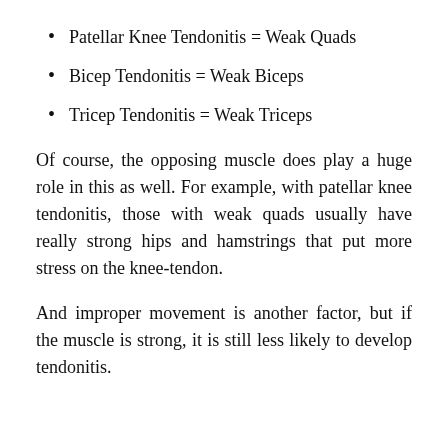Patellar Knee Tendonitis = Weak Quads
Bicep Tendonitis = Weak Biceps
Tricep Tendonitis = Weak Triceps
Of course, the opposing muscle does play a huge role in this as well. For example, with patellar knee tendonitis, those with weak quads usually have really strong hips and hamstrings that put more stress on the knee-tendon.
And improper movement is another factor, but if the muscle is strong, it is still less likely to develop tendonitis.